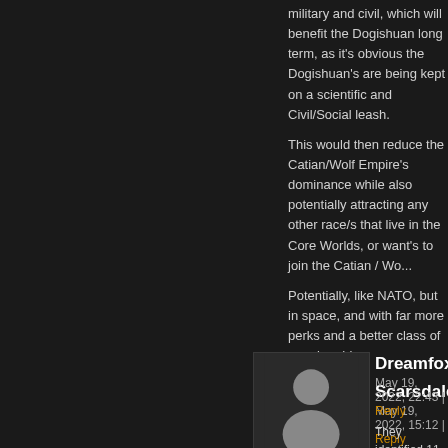military and civil, which will benefit the Dogishuan long term, as it's obvious the Dogishuan's are being kept on a scientific and Civil/Social leash.
This would then reduce the Catian/Wolf Empire's dominance while also potentially attracting any other race/s that live in the Core Worlds, or want's to join the Catian / Wo...
Potentially, like NATO, but in space, and with far more perks and a better class of membership.
Scarsdale
May 19, 2022, 15:12 | Reply
Oh I know they are the Empire has gone from... in just a few years and the lag from port travel... have many scenarios running through my hea... ships with them any core fleet that comes thr... missile launchers would remove the need of a... However the Wolf Empire isn't just going to ki... declared it's not how they work they give the a... if needed. Dogishuan people haven't had much time to p... matter of how much trading and planning as n... was saying their population was kept low bec...
Dreamfox
May 19, 2022, 22:43 | Reply
They identified 11 warships, 27 other contacts... For all the talk about the size of the Core Wor...